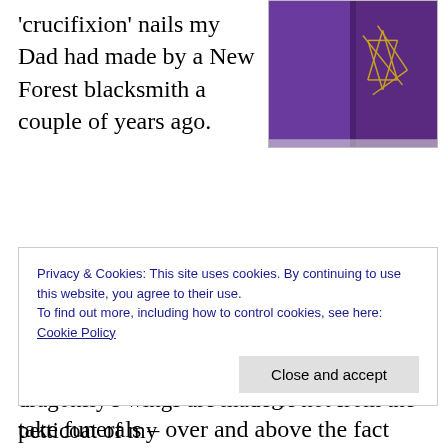[Figure (photo): A purple fabric stole with a dragonfly/star design embroidered on it, shown folded open.]
'crucifixion' nails my Dad had made by a New Forest blacksmith a couple of years ago. Those familiar with the “Water Bugs and Dragonflies” book for explaining death to young people will understand why I wanted one on a stole I might well wear to take funerals – over and above the fact that they’re a big photographic passion of my husband and I. We are really impressed at the
Privacy & Cookies: This site uses cookies. By continuing to use this website, you agree to their use.
To find out more, including how to control cookies, see here: Cookie Policy
dragonfly’s wings are made of not from the petticoat of my